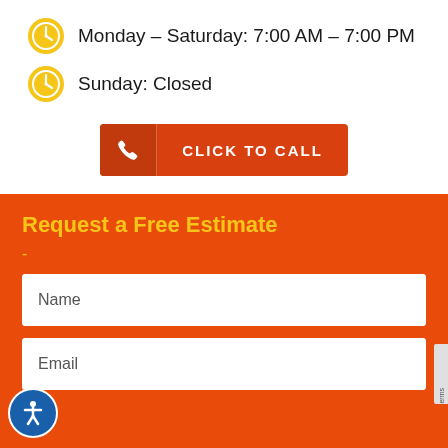Monday – Saturday: 7:00 AM – 7:00 PM
Sunday: Closed
[Figure (infographic): Orange 'Click to Call' button with phone icon on the left and text 'CLICK TO CALL' on the right]
Request a Free Estimate
-
Name
Email